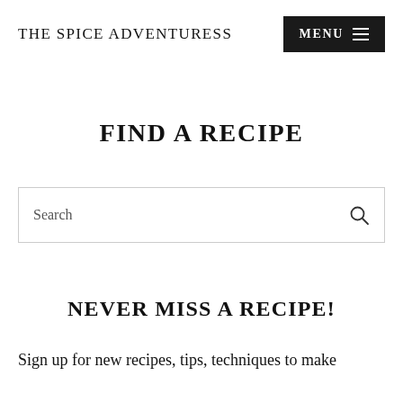THE SPICE ADVENTURESS
FIND A RECIPE
Search
NEVER MISS A RECIPE!
Sign up for new recipes, tips, techniques to make